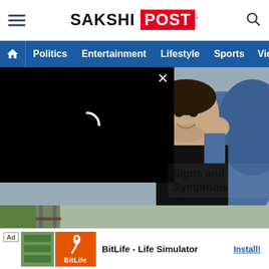SAKSHI POST
[Figure (screenshot): Navigation bar with Politics, Entertainment, Lifestyle, Sports, Video links on blue background]
[Figure (photo): Man in black shirt and denim jacket with hand near face, partially covered by black video player overlay with X close button and loading spinner]
Signs and Symptoms
[Figure (photo): Aerial view of a parking lot filled with cars, people walking through, green trees and railway tracks on the left, yellow circular up-arrow button overlay]
[Figure (infographic): Ad banner: BitLife - Life Simulator app advertisement with Install button]